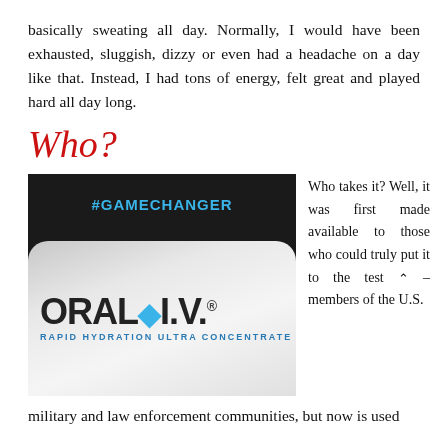basically sweating all day. Normally, I would have been exhausted, sluggish, dizzy or even had a headache on a day like that. Instead, I had tons of energy, felt great and played hard all day long.
Who?
[Figure (photo): Photo of an ORAL I.V. rapid hydration ultra concentrate product bottle/packet with #GAMECHANGER text at the top on a dark background]
Who takes it? Well, it was first made available to those who could truly put it to the test — members of the U.S. military and law enforcement communities, but now is used